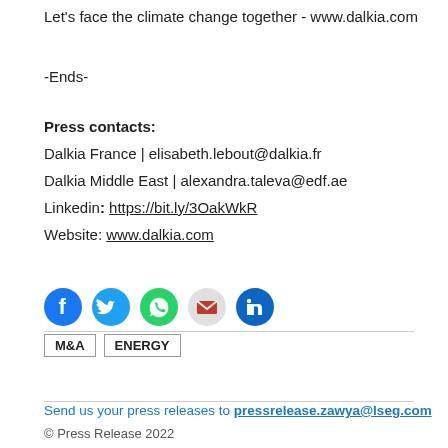Let's face the climate change together - www.dalkia.com
-Ends-
Press contacts:
Dalkia France | elisabeth.lebout@dalkia.fr
Dalkia Middle East | alexandra.taleva@edf.ae
Linkedin: https://bit.ly/3OakWkR
Website: www.dalkia.com
[Figure (other): Social media icons: Facebook, Twitter, WhatsApp, Email, LinkedIn]
M&A   ENERGY
Send us your press releases to pressrelease.zawya@lseg.com
© Press Release 2022